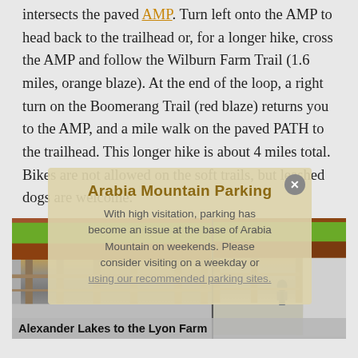intersects the paved AMP. Turn left onto the AMP to head back to the trailhead or, for a longer hike, cross the AMP and follow the Wilburn Farm Trail (1.6 miles, orange blaze). At the end of the loop, a right turn on the Boomerang Trail (red blaze) returns you to the AMP, and a mile walk on the paved PATH to the trailhead. This longer hike is about 4 miles total. Bikes are not allowed on the soft trails, but leashed dogs are welcome.
Arabia Mountain Parking
With high visitation, parking has become an issue at the base of Arabia Mountain on weekends. Please consider visiting on a weekday or using our recommended parking sites.
[Figure (photo): Photo of an open-sided shelter structure at Alexander Lakes to Lyon Farm trailhead area, showing wooden roof and metal/concrete walls, split into two panels side by side.]
Alexander Lakes to the Lyon Farm